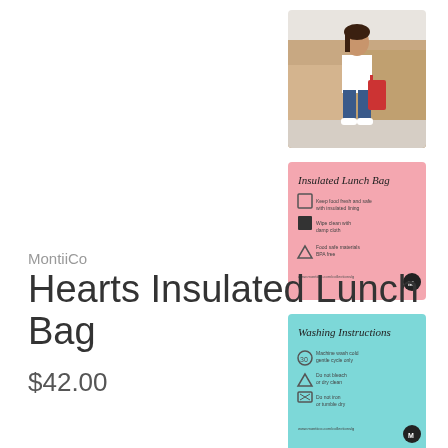[Figure (photo): Girl standing with blue luggage against a wall of cardboard boxes, wearing white t-shirt and jeans]
[Figure (infographic): Pink card showing Insulated Lunch Bag features with icons and text]
[Figure (infographic): Teal card showing Washing Instructions with icons and text]
MontiiCo
Hearts Insulated Lunch Bag
$42.00